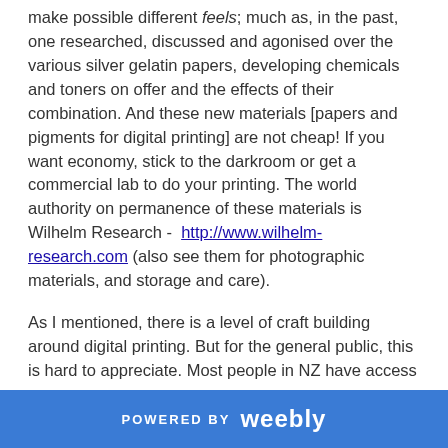make possible different feels; much as, in the past, one researched, discussed and agonised over the various silver gelatin papers, developing chemicals and toners on offer and the effects of their combination. And these new materials [papers and pigments for digital printing] are not cheap! If you want economy, stick to the darkroom or get a commercial lab to do your printing. The world authority on permanence of these materials is Wilhelm Research - http://www.wilhelm-research.com (also see them for photographic materials, and storage and care).
As I mentioned, there is a level of craft building around digital printing. But for the general public, this is hard to appreciate. Most people in NZ have access to a computer and some kind of colour printer, and you don't even need Photoshop. Free software such as Picasa
POWERED BY weebly